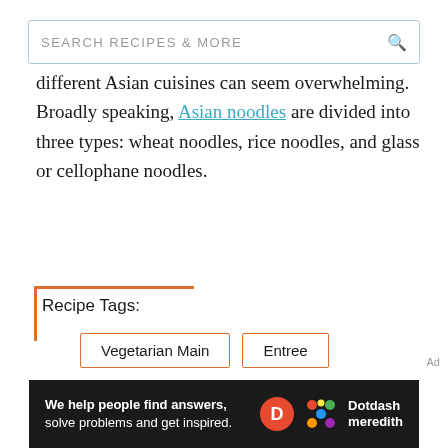SEARCH RECIPES & MORE
different Asian cuisines can seem overwhelming. Broadly speaking, Asian noodles are divided into three types: wheat noodles, rice noodles, and glass or cellophane noodles.
Recipe Tags:
Vegetarian Main
Entree
Asian
Family Dinner
We help people find answers, solve problems and get inspired. Dotdash meredith